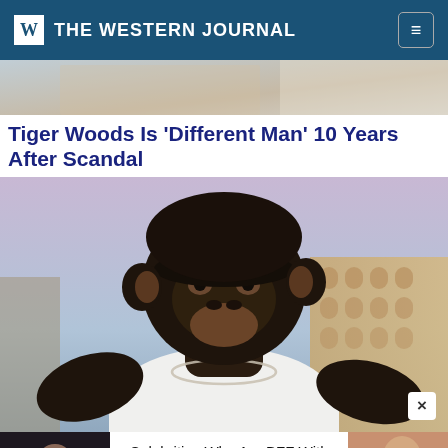THE WESTERN JOURNAL
[Figure (photo): Partial photo of a person visible at the top, cropped]
Tiger Woods Is 'Different Man' 10 Years After Scandal
[Figure (photo): A chimpanzee wearing a white tank top and silver chain necklace with a tattoo on its neck, posing outdoors]
[Figure (photo): Advertisement banner: Celebrities Who Are BFF With Their Moms - Brainberries, with photos on left and right]